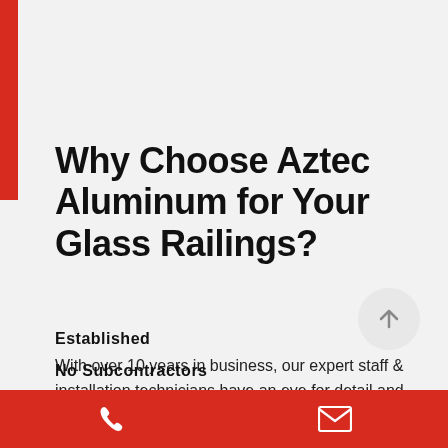Why Choose Aztec Aluminum for Your Glass Railings?
Established
With over 10 years in business, our expert staff & installation technicians have an eye for detail and the creative flair to make your property look great!
No Subcontractors